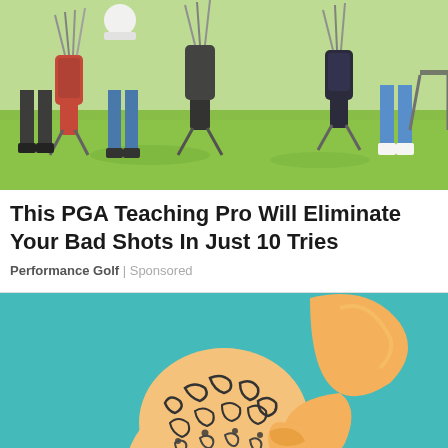[Figure (photo): Outdoor golf course photo showing golf bags on stands and people's legs on green grass in bright sunlight.]
This PGA Teaching Pro Will Eliminate Your Bad Shots In Just 10 Tries
Performance Golf | Sponsored
[Figure (illustration): Illustrated image of a bald person with a fist on their head, set against a teal background, showing squiggly lines on the scalp representing brain activity or hair loss.]